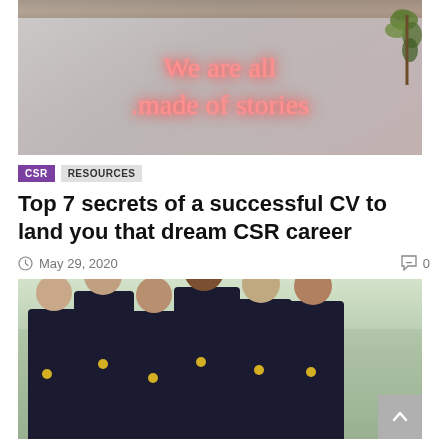[Figure (photo): Neon sign reading 'We are all made of stories' in pink/red neon light, mounted on a white wall with a wooden shelf above and green plants on the right.]
CSR
RESOURCES
Top 7 secrets of a successful CV to land you that dream CSR career
May 29, 2020
0
[Figure (photo): Group photo of six people wearing dark polo shirts with yellow logos, smiling outdoors with greenery in the background.]